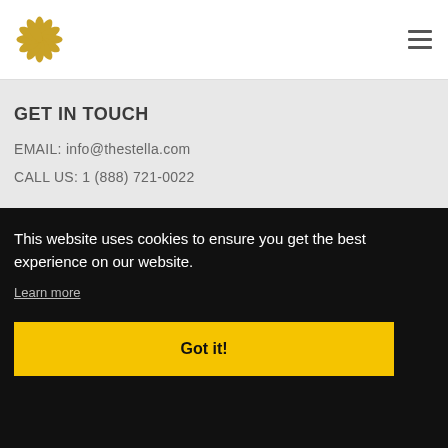[Figure (logo): Golden flower/star-shaped logo (The Stella)]
[Figure (other): Hamburger menu icon (three horizontal lines)]
GET IN TOUCH
EMAIL: info@thestella.com
CALL US: 1 (888) 721-0022
This website uses cookies to ensure you get the best experience on our website.
Learn more
Got it!